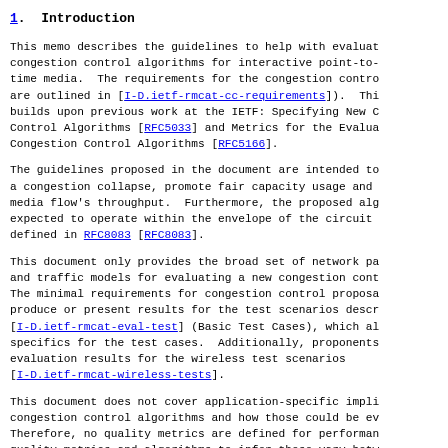1.  Introduction
This memo describes the guidelines to help with evaluat congestion control algorithms for interactive point-to- time media.  The requirements for the congestion contro are outlined in [I-D.ietf-rmcat-cc-requirements]).  Thi builds upon previous work at the IETF: Specifying New C Control Algorithms [RFC5033] and Metrics for the Evalua Congestion Control Algorithms [RFC5166].
The guidelines proposed in the document are intended to a congestion collapse, promote fair capacity usage and media flow's throughput.  Furthermore, the proposed alg expected to operate within the envelope of the circuit defined in RFC8083 [RFC8083].
This document only provides the broad set of network pa and traffic models for evaluating a new congestion cont The minimal requirements for congestion control proposa produce or present results for the test scenarios descr [I-D.ietf-rmcat-eval-test] (Basic Test Cases), which al specifics for the test cases.  Additionally, proponents evaluation results for the wireless test scenarios [I-D.ietf-rmcat-wireless-tests].
This document does not cover application-specific impli congestion control algorithms and how those could be ev Therefore, no quality metrics are defined for performan quality metrics and algorithms to infer those vary betw types.  Metrics and algorithms to assess, e.g. quality